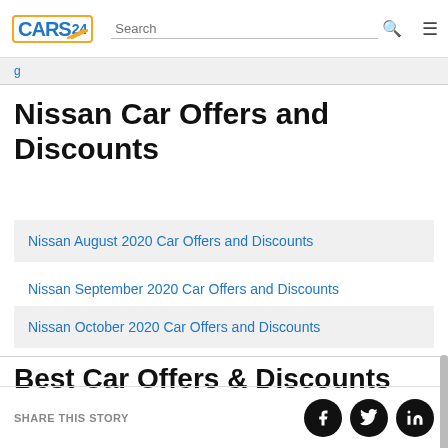CARS24 — Search — Navigation
(breadcrumb/nav strip partial link)
Nissan Car Offers and Discounts
Nissan August 2020 Car Offers and Discounts
Nissan September 2020 Car Offers and Discounts
Nissan October 2020 Car Offers and Discounts
Best Car Offers & Discounts
SHARE THIS STORY